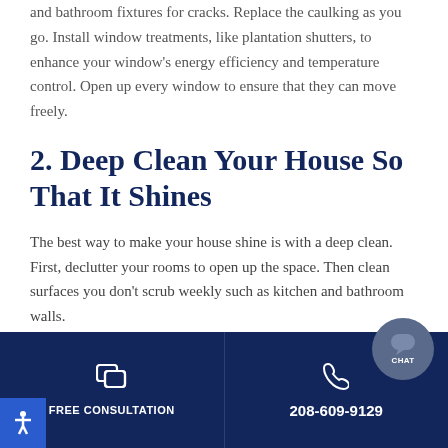and bathroom fixtures for cracks. Replace the caulking as you go. Install window treatments, like plantation shutters, to enhance your window's energy efficiency and temperature control. Open up every window to ensure that they can move freely.
2. Deep Clean Your House So That It Shines
The best way to make your house shine is with a deep clean. First, declutter your rooms to open up the space. Then clean surfaces you don't scrub weekly such as kitchen and bathroom walls.
FREE CONSULTATION | 208-609-9129 | CHAT